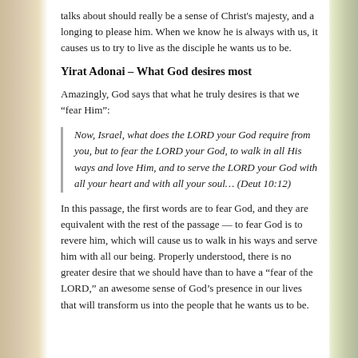talks about should really be a sense of Christ's majesty, and a longing to please him. When we know he is always with us, it causes us to try to live as the disciple he wants us to be.
Yirat Adonai – What God desires most
Amazingly, God says that what he truly desires is that we “fear Him”:
Now, Israel, what does the LORD your God require from you, but to fear the LORD your God, to walk in all His ways and love Him, and to serve the LORD your God with all your heart and with all your soul… (Deut 10:12)
In this passage, the first words are to fear God, and they are equivalent with the rest of the passage — to fear God is to revere him, which will cause us to walk in his ways and serve him with all our being. Properly understood, there is no greater desire that we should have than to have a “fear of the LORD,” an awesome sense of God’s presence in our lives that will transform us into the people that he wants us to be.